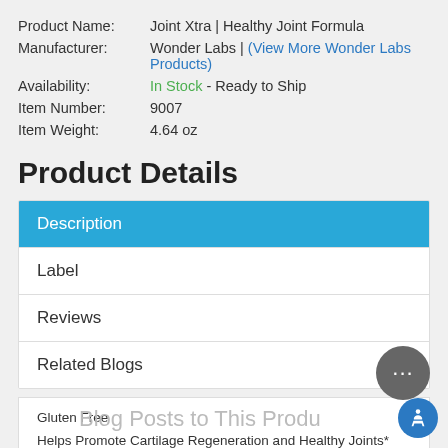Product Name: Joint Xtra | Healthy Joint Formula
Manufacturer: Wonder Labs | (View More Wonder Labs Products)
Availability: In Stock - Ready to Ship
Item Number: 9007
Item Weight: 4.64 oz
Product Details
Description
Label
Reviews
Related Blogs
Gluten Free
Helps Promote Cartilage Regeneration and Healthy Joints*